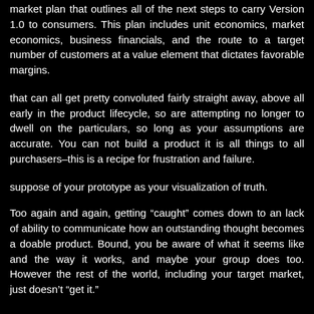market plan that outlines all of the next steps to carry Version 1.0 to consumers. This plan includes unit economics, market economics, business financials, and the route to a target number of customers at a value element that dictates favorable margins.
that can all get pretty convoluted fairly straight away, above all early in the product lifecycle, so are attempting no longer to dwell on the particulars, so long as your assumptions are accurate. You can not build a product it is all things to all purchasers–this is a recipe for frustration and failure.
suppose of your prototype as your visualization of truth.
Too again and again, getting “caught” comes down to an lack of ability to communicate how an outstanding thought becomes a doable product. Bound, you be aware of what it seems like and the way it works, and maybe your group does too. However the rest of the world, including your target market, just doesn’t “get it.”